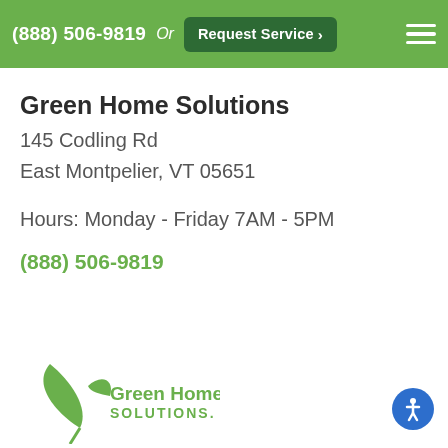(888) 506-9819  Or  Request Service  ›
Green Home Solutions
145 Codling Rd
East Montpelier, VT 05651
Hours: Monday - Friday 7AM - 5PM
(888) 506-9819
[Figure (logo): Green Home Solutions logo with green leaf graphic and company name text]